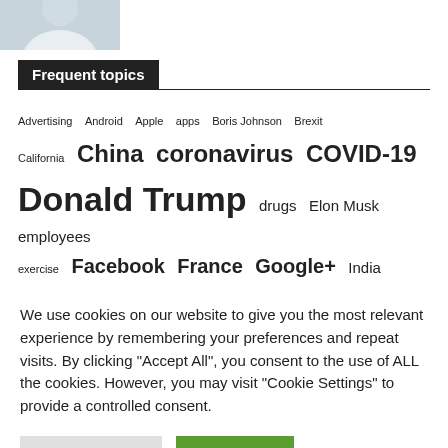[Figure (photo): Partial photo of a person in a white shirt, cropped at top-left corner]
Frequent topics
Advertising  Android  Apple  apps  Boris Johnson  Brexit  California  China  coronavirus  COVID-19  Donald Trump  drugs  Elon Musk  employees  exercise  Facebook  France  Google+  India  infections  Italy  Japan  Joe Biden  missiles  NASA  New York
We use cookies on our website to give you the most relevant experience by remembering your preferences and repeat visits. By clicking "Accept All", you consent to the use of ALL the cookies. However, you may visit "Cookie Settings" to provide a controlled consent.
Cookie Settings  Accept All